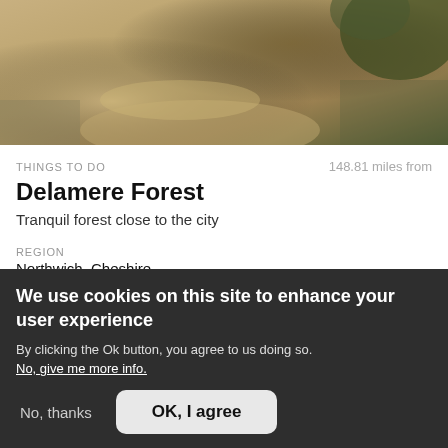[Figure (photo): Aerial or ground-level view of a sandy forest path with dry grassy vegetation and trees, Delamere Forest]
THINGS TO DO
148.81 miles from
Delamere Forest
Tranquil forest close to the city
REGION
Northwich, Cheshire
ASSESSED
VisitEngland® Recommended
We use cookies on this site to enhance your user experience
By clicking the Ok button, you agree to us doing so.
No, give me more info.
No, thanks
OK, I agree